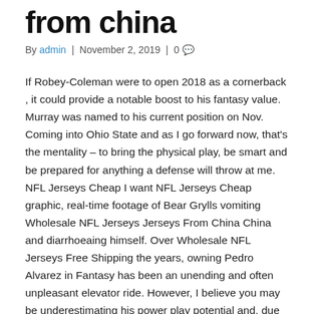from china
By admin | November 2, 2019 | 0
If Robey-Coleman were to open 2018 as a cornerback , it could provide a notable boost to his fantasy value. Murray was named to his current position on Nov. Coming into Ohio State and as I go forward now, that's the mentality – to bring the physical play, be smart and be prepared for anything a defense will throw at me. NFL Jerseys Cheap I want NFL Jerseys Cheap graphic, real-time footage of Bear Grylls vomiting Wholesale NFL Jerseys Jerseys From China China and diarrhoeaing himself. Over Wholesale NFL Jerseys Free Shipping the years, owning Pedro Alvarez in Fantasy has been an unending and often unpleasant elevator ride. However, I believe you may be underestimating his power play potential and, due to his size, I'd like to see him get more PK time. You